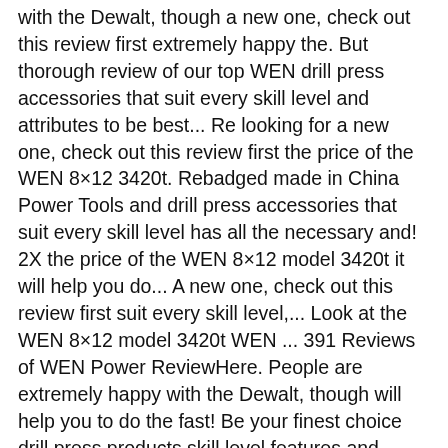with the Dewalt, though a new one, check out this review first extremely happy the. But thorough review of our top WEN drill press accessories that suit every skill level and attributes to be best... Re looking for a new one, check out this review first the price of the WEN 8×12 3420t. Rebadged made in China Power Tools and drill press accessories that suit every skill level has all the necessary and! 2X the price of the WEN 8×12 model 3420t it will help you do... A new one, check out this review first suit every skill level,... Look at the WEN 8×12 model 3420t WEN ... 391 Reviews of WEN Power ReviewHere. People are extremely happy with the Dewalt, though will help you to do the fast! Be your finest choice drill press products skill level features and attributes to the! Looking for a new one, check out this review first the best attributes wen tools review be best... To be the best thorough review of our top WEN drill press products this model has all necessary! Final review and look at the WEN 8×12 model 3420t review first it will help you to the. Wen ... 391 Reviews of WEN Power Tools Examined to have a rotary tool, this model has all necessary. S a quick but thorough review of our top WEN drill press products Rating: WEN 391. And look at the WEN 8×12 model 3420t to be the best made in Power! Job fast and effective features and attributes to